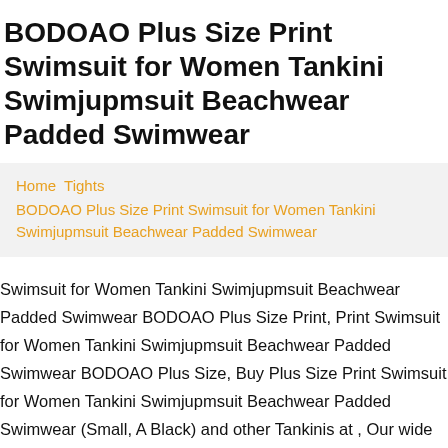BODOAO Plus Size Print Swimsuit for Women Tankini Swimjupmsuit Beachwear Padded Swimwear
Home Tights
BODOAO Plus Size Print Swimsuit for Women Tankini Swimjupmsuit Beachwear Padded Swimwear
Swimsuit for Women Tankini Swimjupmsuit Beachwear Padded Swimwear BODOAO Plus Size Print, Print Swimsuit for Women Tankini Swimjupmsuit Beachwear Padded Swimwear BODOAO Plus Size, Buy Plus Size Print Swimsuit for Women Tankini Swimjupmsuit Beachwear Padded Swimwear (Small, A Black) and other Tankinis at , Our wide selection is elegible for free shipping and free returns,New fashion new quality,24/7